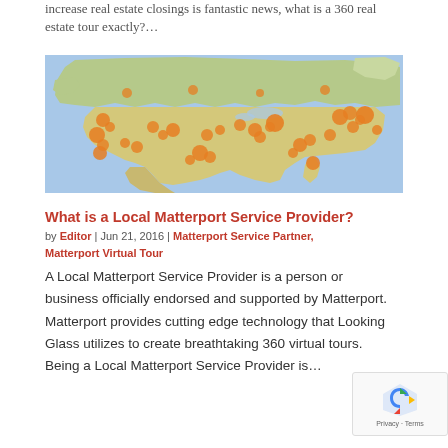increase real estate closings is fantastic news, what is a 360 real estate tour exactly?…
[Figure (map): Map of North America (USA, Canada, Mexico) with orange dot clusters marking Matterport service provider locations, concentrated across the US with higher density in major metropolitan and coastal areas.]
What is a Local Matterport Service Provider?
by Editor | Jun 21, 2016 | Matterport Service Partner, Matterport Virtual Tour
A Local Matterport Service Provider is a person or business officially endorsed and supported by Matterport. Matterport provides cutting edge technology that Looking Glass utilizes to create breathtaking 360 virtual tours. Being a Local Matterport Service Provider is…